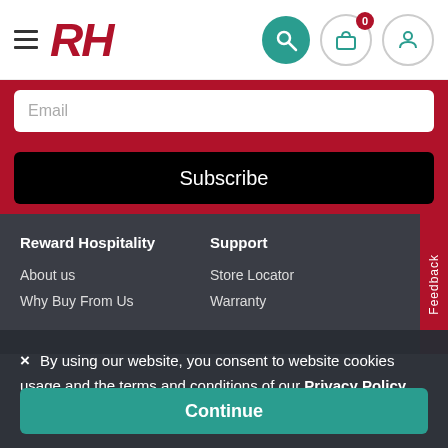RH - Reward Hospitality navigation header with hamburger menu, logo, search, cart (0), and user icons
Email
Subscribe
Reward Hospitality
Support
About us
Store Locator
Why Buy From Us
Warranty
Feedback
× By using our website, you consent to website cookies usage and the terms and conditions of our Privacy Policy.
Continue